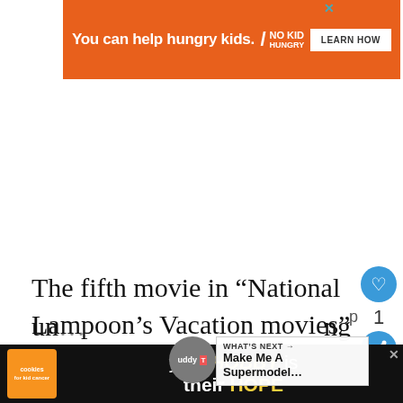[Figure (screenshot): Orange advertisement banner: 'You can help hungry kids.' with No Kid Hungry logo and LEARN HOW button, with close X]
The fifth movie in “National Lampoon’s Vacation movies” is unsightly. It wo... thing if the film were wrong, but it’s also un...ng
[Figure (screenshot): Buddy TV circular logo overlay and WHAT'S NEXT: Make Me A Supermodel... sidebar]
[Figure (screenshot): Bottom advertisement: cookies for kid cancer logo with 'your HOBBY is their HOPE' text on black background]